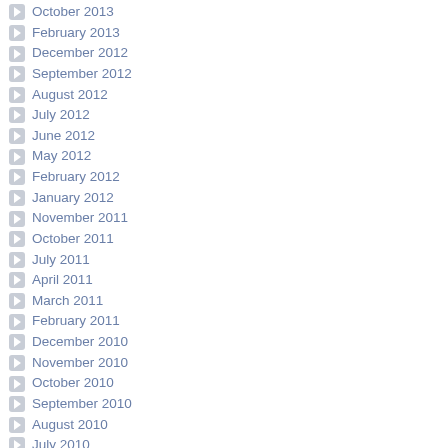October 2013
February 2013
December 2012
September 2012
August 2012
July 2012
June 2012
May 2012
February 2012
January 2012
November 2011
October 2011
July 2011
April 2011
March 2011
February 2011
December 2010
November 2010
October 2010
September 2010
August 2010
July 2010
February 2010
November 2009